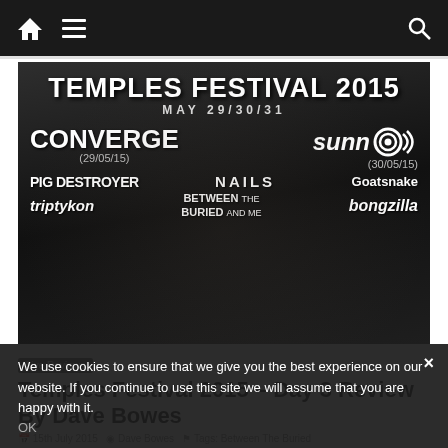Navigation bar with home icon, hamburger menu, and search icon
[Figure (photo): Temples Festival 2015 promotional banner — black and white, showing band names: CONVERGE (29/05/15), sunn O))) (30/05/15), PIG DESTROYER, NAILS, Goatsnake, Triptykon, BETWEEN THE BURIED AND ME, bongzilla. MAY 29/30/31.]
Live Reviews
Temples Festival 2015 – Day 3 Review By Dave Bowes
15th July 2015  Dave Bowes  Tags: Between The Buried
We use cookies to ensure that we give you the best experience on our website. If you continue to use this site we will assume that you are happy with it.